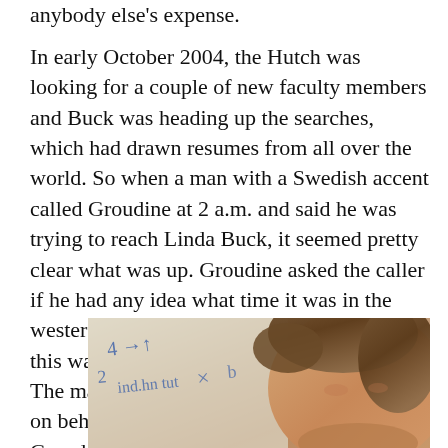anybody else's expense.
In early October 2004, the Hutch was looking for a couple of new faculty members and Buck was heading up the searches, which had drawn resumes from all over the world. So when a man with a Swedish accent called Groudine at 2 a.m. and said he was trying to reach Linda Buck, it seemed pretty clear what was up. Groudine asked the caller if he had any idea what time it was in the western United States, and assured him that this was no way to get a job at the Hutch. The man then explained that he was calling on behalf of the Nobel Prize committee. Groudine corrected himself: “Well, that is a good way to get a job here.”
[Figure (photo): Close-up photo of a person with brown hair, with handwritten notes or equations visible in the background on a whiteboard or paper.]